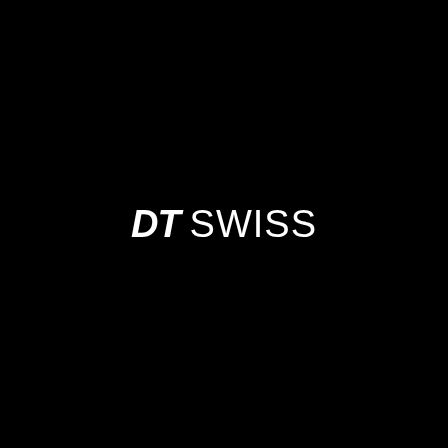[Figure (logo): DT Swiss logo — 'DT' in bold italic white text followed by 'SWISS' in regular white text, centered on a solid black background]